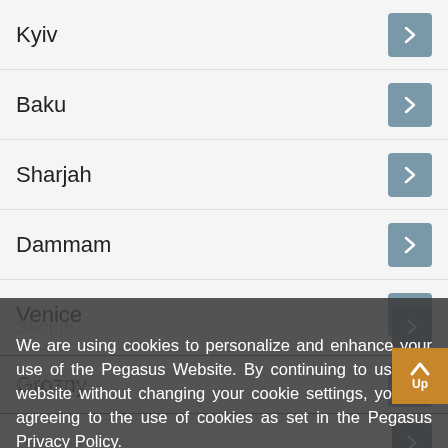Kyiv
Baku
Sharjah
Dammam
Venice
Grozny
Skopje
Marseille
Helsinki
Batumi
We are using cookies to personalize and enhance your use of the Pegasus Website. By continuing to use our website without changing your cookie settings, you are agreeing to the use of cookies as set in the Pegasus Privacy Policy.
Change Settings
I Agree